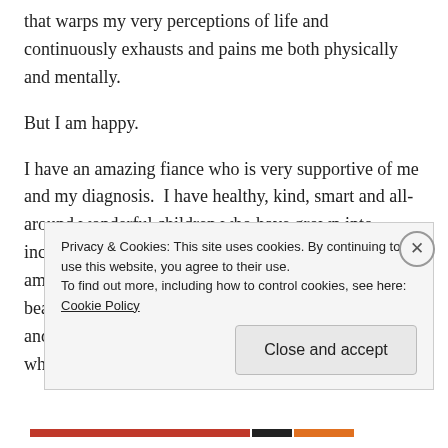that warps my very perceptions of life and continuously exhausts and pains me both physically and mentally.
But I am happy.
I have an amazing fiance who is very supportive of me and my diagnosis.  I have healthy, kind, smart and all-around wonderful children who have grown into incredible adults.  My fiance's children are both amazing, as well. Together we have all formed a beautiful, blended family that I love with all my heart and am proud to call my own.  I have a team of doctors who actually listen to
Privacy & Cookies: This site uses cookies. By continuing to use this website, you agree to their use.
To find out more, including how to control cookies, see here: Cookie Policy
Close and accept